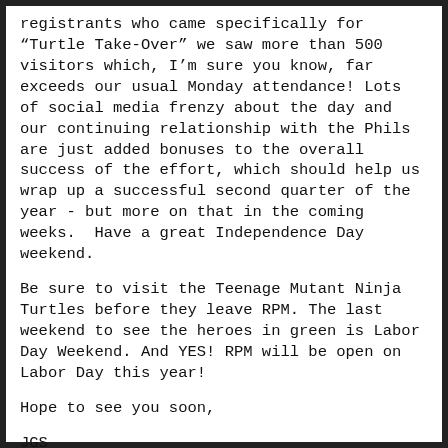registrants who came specifically for “Turtle Take-Over” we saw more than 500 visitors which, I’m sure you know, far exceeds our usual Monday attendance! Lots of social media frenzy about the day and our continuing relationship with the Phils are just added bonuses to the overall success of the effort, which should help us wrap up a successful second quarter of the year - but more on that in the coming weeks.  Have a great Independence Day weekend.
Be sure to visit the Teenage Mutant Ninja Turtles before they leave RPM. The last weekend to see the heroes in green is Labor Day Weekend. And YES! RPM will be open on Labor Day this year!
Hope to see you soon,
JGS